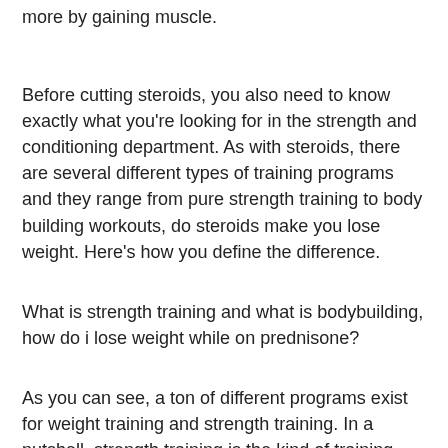more by gaining muscle.
Before cutting steroids, you also need to know exactly what you're looking for in the strength and conditioning department. As with steroids, there are several different types of training programs and they range from pure strength training to body building workouts, do steroids make you lose weight. Here's how you define the difference.
What is strength training and what is bodybuilding, how do i lose weight while on prednisone?
As you can see, a ton of different programs exist for weight training and strength training. In a nutshell, strength training is the kind of training that builds muscle and strength while also giving you energy and a great attitude, trying to lose weight while on prednisone.